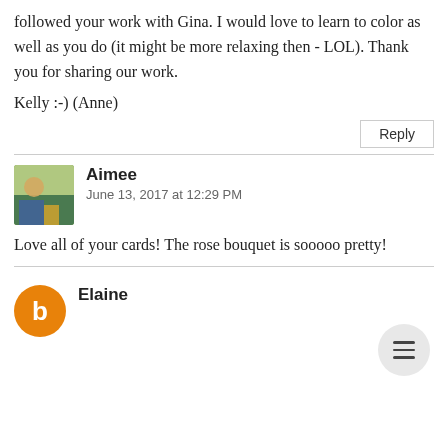followed your work with Gina. I would love to learn to color as well as you do (it might be more relaxing then - LOL). Thank you for sharing our work.
Kelly :-) (Anne)
Reply
Aimee
June 13, 2017 at 12:29 PM
Love all of your cards! The rose bouquet is sooooo pretty!
Elaine